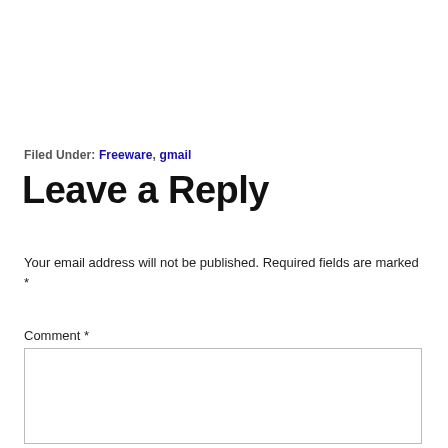Filed Under: Freeware, gmail
Leave a Reply
Your email address will not be published. Required fields are marked *
Comment *